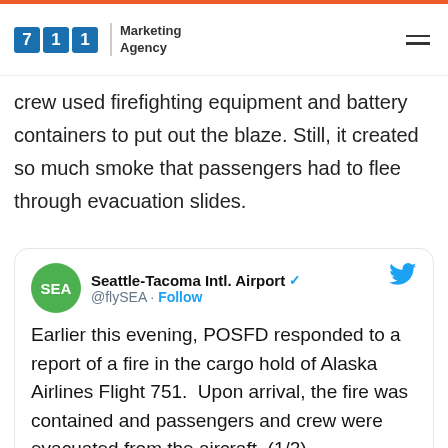711 Marketing Agency
crew used firefighting equipment and battery containers to put out the blaze. Still, it created so much smoke that passengers had to flee through evacuation slides.
[Figure (screenshot): Embedded tweet from Seattle-Tacoma Intl. Airport (@flySEA): 'Earlier this evening, POSFD responded to a report of a fire in the cargo hold of Alaska Airlines Flight 751. Upon arrival, the fire was contained and passengers and crew were evacuated from the aircraft. (1/2)']